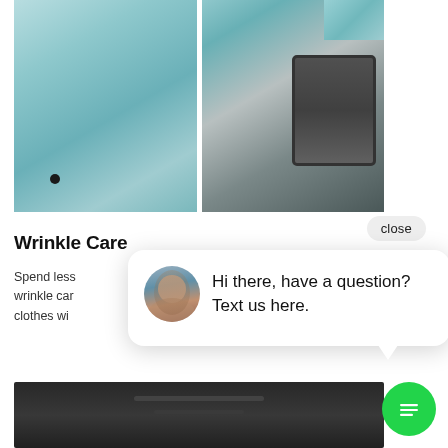[Figure (photo): Split product photo: left side shows a light blue microfiber cloth draped on a surface, right side shows the cloth on a dark car body panel. Divided by a white diagonal line.]
close
Wrinkle Care
Spend less... wrinkle car... clothes wi...
[Figure (screenshot): Chat widget popup with avatar of a woman and text: 'Hi there, have a question? Text us here.']
[Figure (photo): Bottom portion of a dark car interior/exterior panel product image.]
[Figure (illustration): Green circular chat FAB button with message lines icon.]